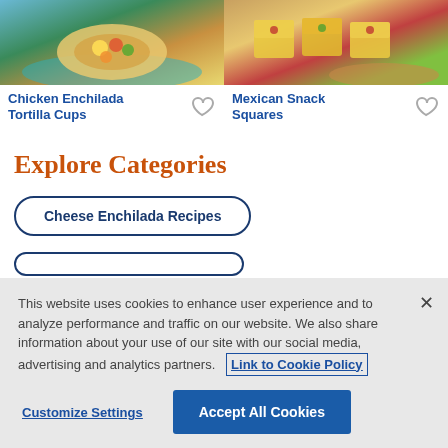[Figure (photo): Photo of Chicken Enchilada Tortilla Cups — a tortilla cup filled with chicken and colorful toppings on a teal plate]
[Figure (photo): Photo of Mexican Snack Squares — cheesy Mexican-style snack squares with colorful toppings on a wooden board]
Chicken Enchilada Tortilla Cups
Mexican Snack Squares
Explore Categories
Cheese Enchilada Recipes
This website uses cookies to enhance user experience and to analyze performance and traffic on our website. We also share information about your use of our site with our social media, advertising and analytics partners.  Link to Cookie Policy
Customize Settings
Accept All Cookies